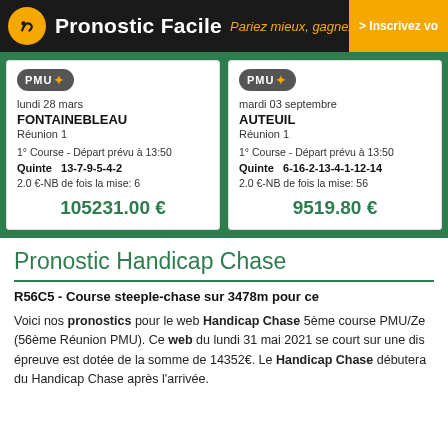Pronostic Facile - Pariez mieux, gagnez plus | > Inscrivez vo
| Card 1 | Card 2 |
| --- | --- |
| lundi 28 mars | mardi 03 septembre |
| FONTAINEBLEAU | AUTEUIL |
| Réunion 1 | Réunion 1 |
| 1° Course - Départ prévu à 13:50 | 1° Course - Départ prévu à 13:50 |
| Quinte 13-7-9-5-4-2 | Quinte 6-16-2-13-4-1-12-14 |
| 2.0 €-NB de fois la mise: 6 | 2.0 €-NB de fois la mise: 56 |
| 105231.00 € | 9519.80 € |
Pronostic Handicap Chase
R56C5 - Course steeple-chase sur 3478m pour ce
Voici nos pronostics pour le web Handicap Chase 5ème course PMU/Ze (56ème Réunion PMU). Ce web du lundi 31 mai 2021 se court sur une dis épreuve est dotée de la somme de 14352€. Le Handicap Chase débutera du Handicap Chase après l'arrivée.